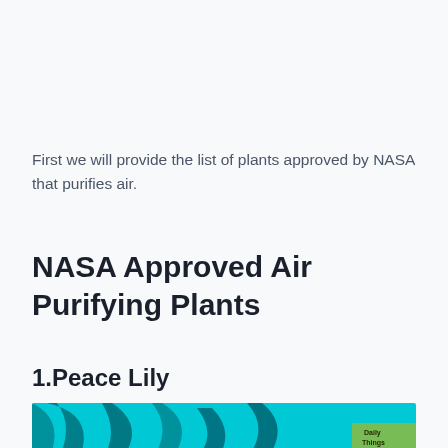First we will provide the list of plants approved by NASA that purifies air.
NASA Approved Air Purifying Plants
1.Peace Lily
[Figure (photo): Close-up photo of a Peace Lily plant with teal/cyan tinted leaves and a partial watermark visible in the bottom-right corner]